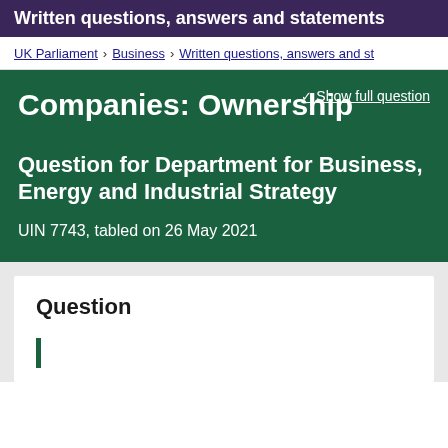Written questions, answers and statements
UK Parliament > Business > Written questions, answers and st…
Companies: Ownership
Show full question
Question for Department for Business, Energy and Industrial Strategy
UIN 7743, tabled on 26 May 2021
Question